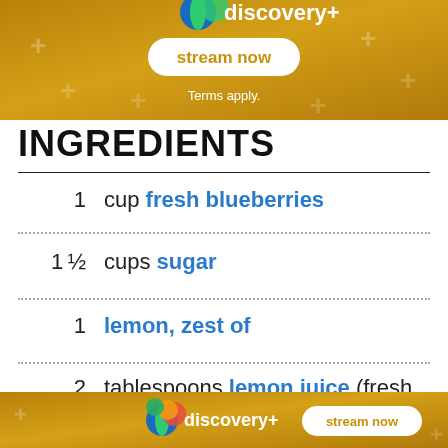[Figure (infographic): Discovery+ advertisement banner (gold/yellow gradient background with plus marks, stream now button, Terms apply text)]
INGREDIENTS
1  cup fresh blueberries
1½  cups sugar
1  lemon, zest of
2  tablespoons lemon juice (fresh squeezed is best)
[Figure (infographic): Discovery+ advertisement banner (gold/yellow gradient background, discovery+ logo, stream now button)]